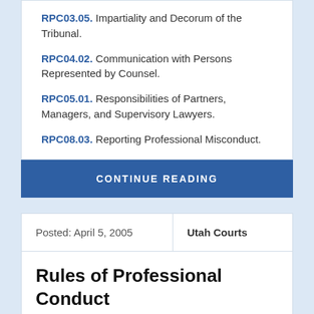RPC03.05. Impartiality and Decorum of the Tribunal.
RPC04.02. Communication with Persons Represented by Counsel.
RPC05.01. Responsibilities of Partners, Managers, and Supervisory Lawyers.
RPC08.03. Reporting Professional Misconduct.
CONTINUE READING
| Posted: April 5, 2005 | Utah Courts |
| --- | --- |
Rules of Professional Conduct
The Ethics 2000 Commission...